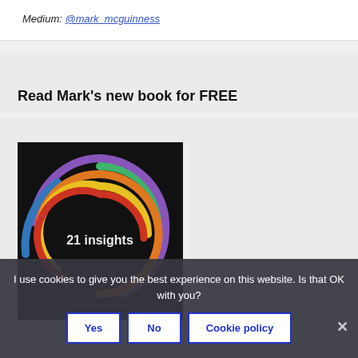Medium: @mark_mcguinness
Read Mark's new book for FREE
[Figure (illustration): Book cover with colorful concentric spiral arcs (green, purple, blue, orange, yellow, red, dark red) on a black background, with text '21 insights' and 'mark mcguinness']
I use cookies to give you the best experience on this website. Is that OK with you?
Yes | No | Cookie policy